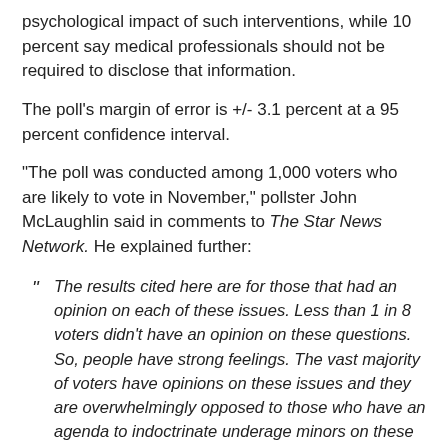psychological impact of such interventions, while 10 percent say medical professionals should not be required to disclose that information.
The poll's margin of error is +/- 3.1 percent at a 95 percent confidence interval.
"The poll was conducted among 1,000 voters who are likely to vote in November," pollster John McLaughlin said in comments to The Star News Network. He explained further:
The results cited here are for those that had an opinion on each of these issues. Less than 1 in 8 voters didn't have an opinion on these questions. So, people have strong feelings. The vast majority of voters have opinions on these issues and they are overwhelmingly opposed to those who have an agenda to indoctrinate underage minors on these issues.